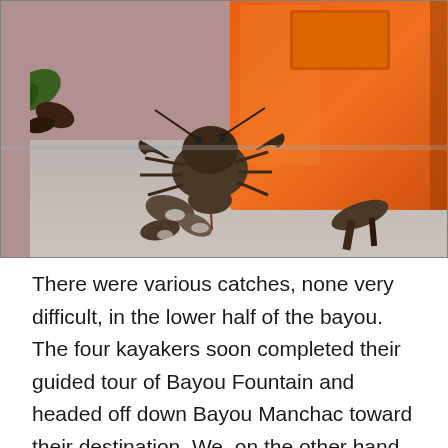[Figure (photo): Close-up photograph of a crayfish or small crab on a wet concrete or sandy surface next to an orange plastic container or bucket. Various shell fragments and debris are scattered around the creature.]
There were various catches, none very difficult, in the lower half of the bayou.  The four kayakers soon completed their guided tour of Bayou Fountain and headed off down Bayou Manchac toward their destination. We, on the other hand, turned back up Bayou Fountain to commence the second half of the expedition.  On the way